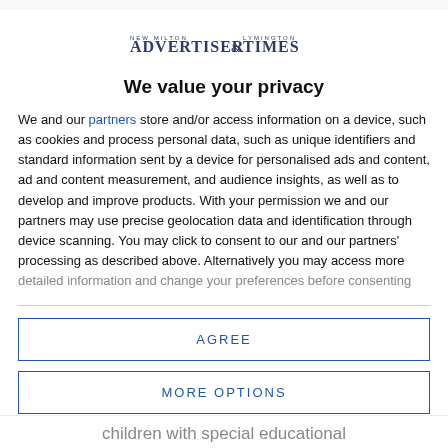[Figure (logo): New Milton Advertiser & Lymington Times newspaper logo]
We value your privacy
We and our partners store and/or access information on a device, such as cookies and process personal data, such as unique identifiers and standard information sent by a device for personalised ads and content, ad and content measurement, and audience insights, as well as to develop and improve products. With your permission we and our partners may use precise geolocation data and identification through device scanning. You may click to consent to our and our partners' processing as described above. Alternatively you may access more detailed information and change your preferences before consenting
AGREE
MORE OPTIONS
children with special educational